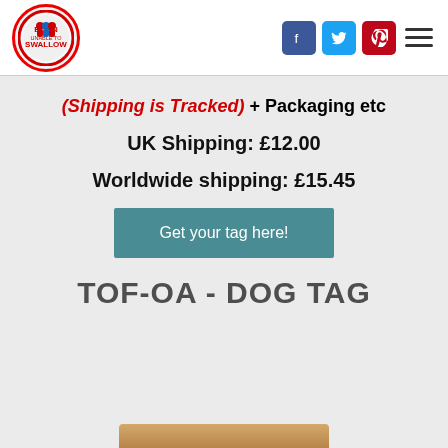[Figure (logo): Born Unable to Swallow circular logo with red border]
[Figure (infographic): Social media icons: Facebook (blue), Twitter (light blue), Pinterest (red), and hamburger menu icon]
(Shipping is Tracked) + Packaging etc
UK Shipping: £12.00
Worldwide shipping: £15.45
Get your tag here!
TOF-OA - DOG TAG
[Figure (photo): Partial image of a dog tag at the bottom of the page]